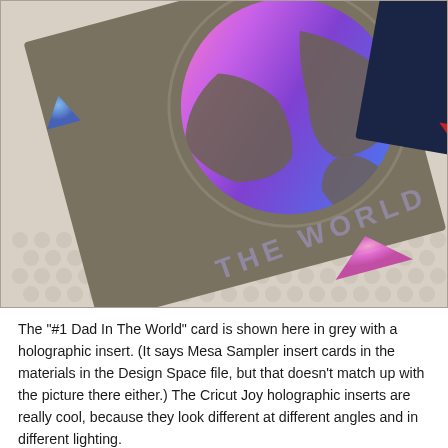[Figure (photo): Close-up photograph of a grey card with the text 'THE WORLD' and a globe cutout revealing holographic rainbow-colored insert beneath. The holographic insert shows vivid purple, pink, blue and magenta colors. The card also has small triangular holographic accents in the corners. The background is a white textured surface (bubble wrap or similar). A second card with a red accent is partially visible at the top right edge.]
The "#1 Dad In The World" card is shown here in grey with a holographic insert. (It says Mesa Sampler insert cards in the materials in the Design Space file, but that doesn't match up with the picture there either.) The Cricut Joy holographic inserts are really cool, because they look different at different angles and in different lighting.